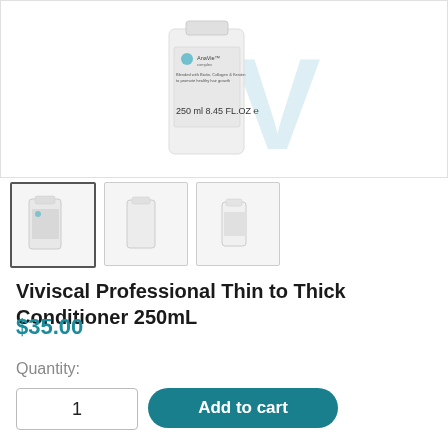[Figure (photo): Main product image of Viviscal Professional Thin to Thick Conditioner 250mL bottle on white background]
[Figure (photo): Three thumbnail images of the product: front view with label, side view, and back view]
Viviscal Professional Thin to Thick Conditioner 250mL
$35.00
Quantity:
1
Add to cart